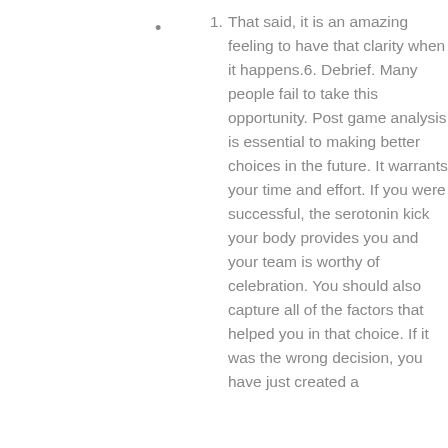•
1. That said, it is an amazing feeling to have that clarity when it happens.6. Debrief. Many people fail to take this opportunity. Post game analysis is essential to making better choices in the future. It warrants your time and effort. If you were successful, the serotonin kick your body provides you and your team is worthy of celebration. You should also capture all of the factors that helped you in that choice. If it was the wrong decision, you have just created a